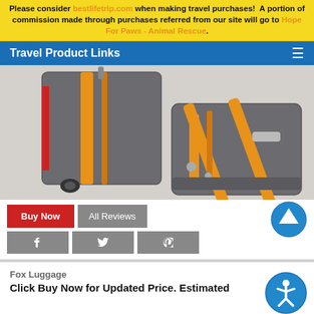Please consider bestlifetrip.com when making travel purchases! A portion of commission made through purchases referred from our site will go to Hope For Paws - Animal Rescue.
Travel Product Links
[Figure (photo): Gray and orange luggage set with rolling suitcase and matching duffle bag]
Buy Now | All Reviews
Fox Luggage
Click Buy Now for Updated Price. Estimated